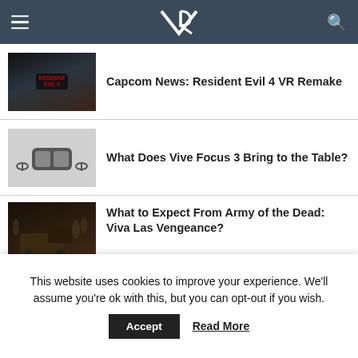VR (logo navigation bar with hamburger menu and search icon)
[Figure (screenshot): Thumbnail image for Resident Evil 4 VR Remake article — dark game screenshot]
Capcom News: Resident Evil 4 VR Remake
[Figure (photo): Thumbnail image for Vive Focus 3 article — VR headset on gray background]
What Does Vive Focus 3 Bring to the Table?
[Figure (photo): Thumbnail image for Army of the Dead: Viva Las Vengeance article — dark action scene]
What to Expect From Army of the Dead: Viva Las Vengeance?
[Figure (photo): Partial thumbnail for Oculus Quest 2 article]
What Does the New 128GB Oculus Quest 2
This website uses cookies to improve your experience. We'll assume you're ok with this, but you can opt-out if you wish.
Accept   Read More